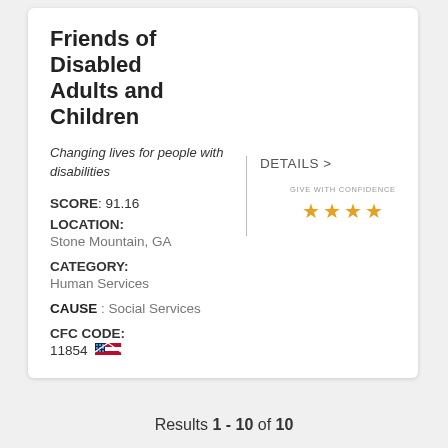Friends of Disabled Adults and Children
Changing lives for people with disabilities
SCORE: 91.16
DETAILS >
[Figure (infographic): Give With Confidence label with 4 gold stars rating]
LOCATION: Stone Mountain, GA
CATEGORY: Human Services
CAUSE : Social Services
CFC CODE: 11854
Results 1 - 10 of 10